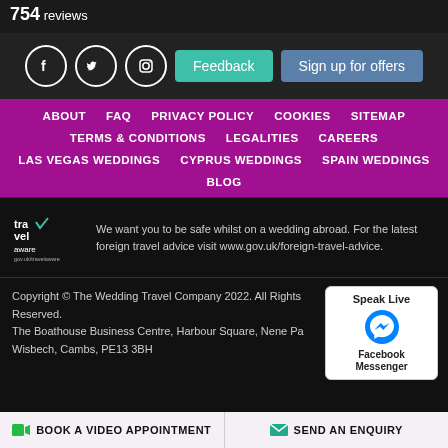754 reviews
[Figure (infographic): Social media icons (Facebook, Twitter, Instagram circles) with Feedback and Sign up for offers buttons]
ABOUT
FAQ
PRIVACY POLICY
COOKIES
SITEMAP
TERMS & CONDITIONS
LEGALITIES
CAREERS
LAS VEGAS WEDDINGS
CYPRUS WEDDINGS
SPAIN WEDDINGS
BLOG
We want you to be safe whilst on a wedding abroad. For the latest foreign travel advice visit www.gov.uk/foreign-travel-advice.
Copyright © The Wedding Travel Company 2022. All Rights Reserved. The Boathouse Business Centre, Harbour Square, Nene Pa... Wisbech, Cambs, PE13 3BH
Speak Live Facebook Messenger
BOOK A VIDEO APPOINTMENT
SEND AN ENQUIRY